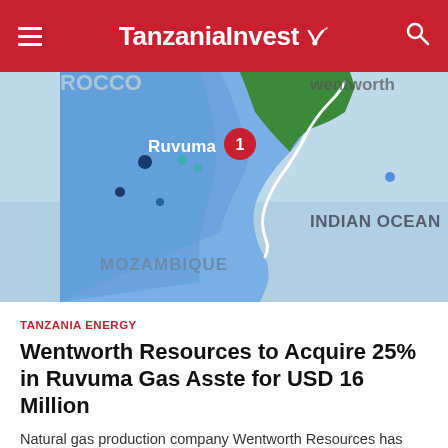TanzaniaInvest
[Figure (map): Map showing Ruvuma region in Tanzania with marker labeled '1', bordering Mozambique to the south and Indian Ocean to the east. Green area indicates Wentworth Resources territory. Blue area is the Indian Ocean.]
TANZANIA ENERGY
Wentworth Resources to Acquire 25% in Ruvuma Gas Asste for USD 16 Million
Natural gas production company Wentworth Resources has recently announced that it has reached an agreement with Scirocco Energy...